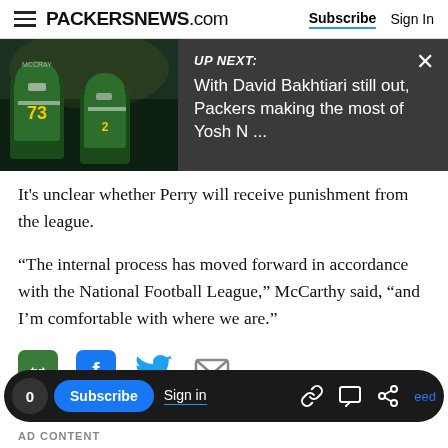PACKERSNEWS.com  Subscribe  Sign In
[Figure (screenshot): UP NEXT overlay showing Green Bay Packers players with text: 'With David Bakhtiari still out, Packers making the most of Yosh N ...']
It's unclear whether Perry will receive punishment from the league.
“The internal process has moved forward in accordance with the National Football League,” McCarthy said, “and I’m comfortable with where we are.”
[Figure (infographic): Social share icons: txt (green), Facebook (blue), Twitter (blue bird), Email (grey envelope)]
0  Subscribe  Sign in  [link icon] [comment icon] [share icon]  eed